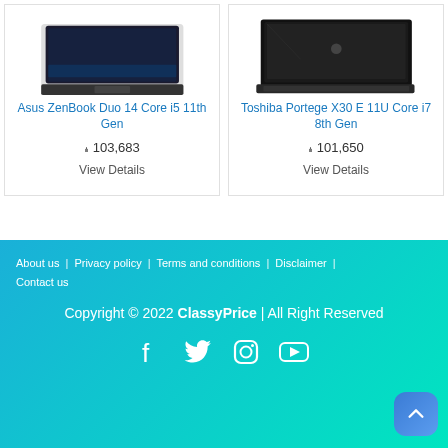[Figure (photo): Asus ZenBook Duo 14 laptop product image]
[Figure (photo): Toshiba Portege X30 E laptop product image]
Asus ZenBook Duo 14 Core i5 11th Gen
Toshiba Portege X30 E 11U Core i7 8th Gen
₼ 103,683
₼ 101,650
View Details
View Details
About us | Privacy policy | Terms and conditions | Disclaimer | Contact us
Copyright © 2022 ClassyPrice | All Right Reserved